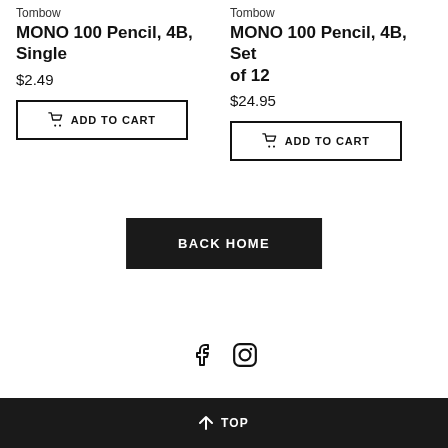Tombow
MONO 100 Pencil, 4B, Single
$2.49
ADD TO CART
Tombow
MONO 100 Pencil, 4B, Set of 12
$24.95
ADD TO CART
BACK HOME
[Figure (other): Facebook and Instagram social media icons]
↑ TOP